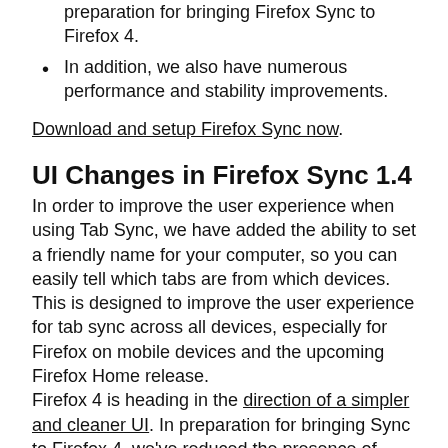preparation for bringing Firefox Sync to Firefox 4.
In addition, we also have numerous performance and stability improvements.
Download and setup Firefox Sync now.
UI Changes in Firefox Sync 1.4
In order to improve the user experience when using Tab Sync, we have added the ability to set a friendly name for your computer, so you can easily tell which tabs are from which devices.  This is designed to improve the user experience for tab sync across all devices, especially for Firefox on mobile devices and the upcoming Firefox Home release.
Firefox 4 is heading in the direction of a simpler and cleaner UI. In preparation for bringing Sync to Firefox 4, we've reduced the presence of Firefox Sync in the primary UI for Firefox. To meet the needs of a simpler UI, you can now only access Firefox Sync through the Tools menu versus the previous UI where Sync was available in both the status bar and in the Tools menu.  As we continue to evolve Firefox Sync and scale our server backend, we will